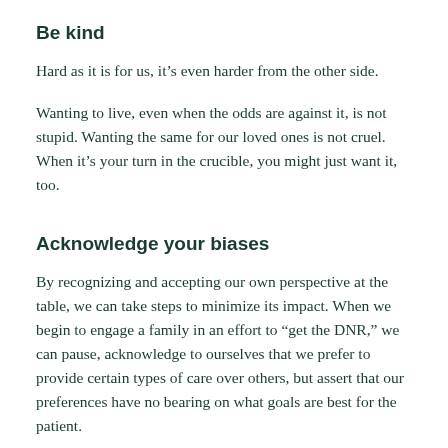Be kind
Hard as it is for us, it’s even harder from the other side.
Wanting to live, even when the odds are against it, is not stupid. Wanting the same for our loved ones is not cruel. When it’s your turn in the crucible, you might just want it, too.
Acknowledge your biases
By recognizing and accepting our own perspective at the table, we can take steps to minimize its impact. When we begin to engage a family in an effort to “get the DNR,” we can pause, acknowledge to ourselves that we prefer to provide certain types of care over others, but assert that our preferences have no bearing on what goals are best for the patient.